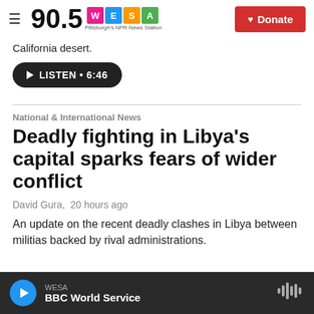90.5 WESA Pittsburgh's NPR News Station
California desert.
LISTEN • 6:46
National & International News
Deadly fighting in Libya's capital sparks fears of wider conflict
David Gura,  20 hours ago
An update on the recent deadly clashes in Libya between militias backed by rival administrations.
WESA  BBC World Service